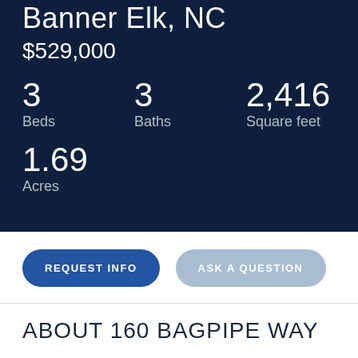Banner Elk, NC
$529,000
3 Beds   3 Baths   2,416 Square feet
1.69 Acres
REQUEST INFO
ASK A QUESTION
ABOUT 160 BAGPIPE WAY